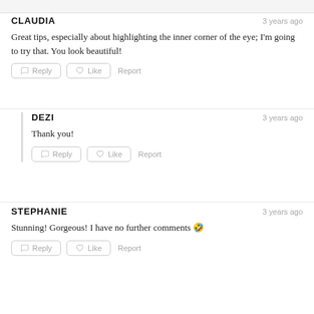CLAUDIA — 3 years ago
Great tips, especially about highlighting the inner corner of the eye; I'm going to try that. You look beautiful!
DEZI — 3 years ago
Thank you!
STEPHANIE — 3 years ago
Stunning! Gorgeous! I have no further comments 😂